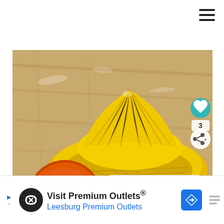[Figure (screenshot): Hamburger menu icon (three horizontal lines) in top-right corner of a web page]
[Figure (photo): Photo of a yellow citrus juicer/reamer next to a red-orange mandarin on a wooden surface. The juicer has a ribbed conical top and slotted bowl base. UI overlays include a teal heart button with '3' likes and a share button on the right edge, plus a 'WHAT'S NEXT' card showing a thumbnail and text '45+ fall sensory pla...']
[Figure (screenshot): Advertisement banner: 'Visit Premium Outlets® / Leesburg Premium Outlets' with a black circular logo with arrow/infinity symbol on left and a blue diamond navigation icon on right, plus a gray menu icon]